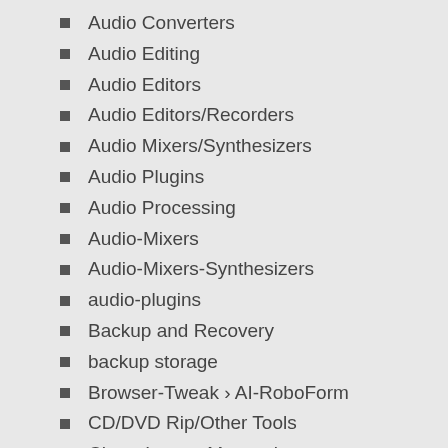Audio Converters
Audio Editing
Audio Editors
Audio Editors/Recorders
Audio Mixers/Synthesizers
Audio Plugins
Audio Processing
Audio-Mixers
Audio-Mixers-Synthesizers
audio-plugins
Backup and Recovery
backup storage
Browser-Tweak › AI-RoboForm
CD/DVD Rip/Other Tools
Chat › Instant Messaging
cloud meeting
Coding languages / Compilers